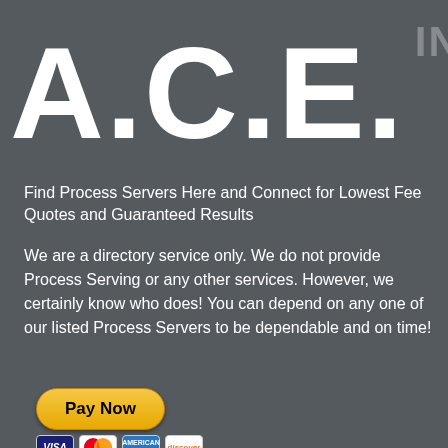A.C.E. INC.
Find Process Servers Here and Connect for Lowest Fee Quotes and Guaranteed Results
We are a directory service only. We do not provide Process Serving or any other services. However, we certainly know who does! You can depend on any one of our listed Process Servers to be dependable and on time!
[Figure (other): PayPal Pay Now button with credit card icons (Visa, Mastercard, American Express, Discover)]
Terms, Serving Process in Minnesota
THE LARGEST AND BEST NATIONWIDE DIRECTORY FOR FINDING PROCESS SERVERS
Minnesota Process Server Terms of Service